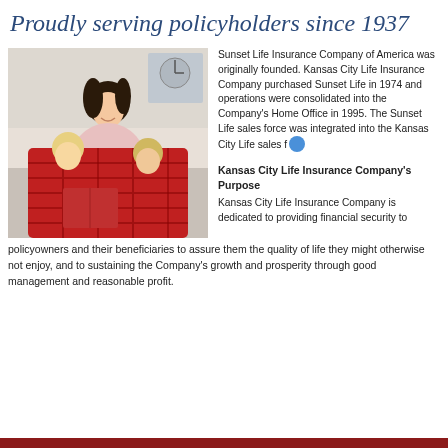Proudly serving policyholders since 1937
[Figure (photo): Woman with two young children reading a book together under a red plaid blanket]
Sunset Life Insurance Company of America was originally founded. Kansas City Life Insurance Company purchased Sunset Life in 1974 and operations were consolidated into the Company's Home Office in 1995. The Sunset Life sales force was integrated into the Kansas City Life sales force.
Kansas City Life Insurance Company's Purpose
Kansas City Life Insurance Company is dedicated to providing financial security to policyowners and their beneficiaries to assure them the quality of life they might otherwise not enjoy, and to sustaining the Company's growth and prosperity through good management and reasonable profit.